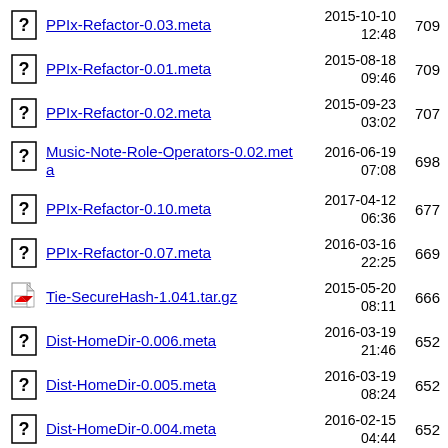PPIx-Refactor-0.03.meta  2015-10-10 12:48  709
PPIx-Refactor-0.01.meta  2015-08-18 09:46  709
PPIx-Refactor-0.02.meta  2015-09-23 03:02  707
Music-Note-Role-Operators-0.02.meta  2016-06-19 07:08  698
PPIx-Refactor-0.10.meta  2017-04-12 06:36  677
PPIx-Refactor-0.07.meta  2016-03-16 22:25  669
Tie-SecureHash-1.041.tar.gz  2015-05-20 08:11  666
Dist-HomeDir-0.006.meta  2016-03-19 21:46  652
Dist-HomeDir-0.005.meta  2016-03-19 08:24  652
Dist-HomeDir-0.004.meta  2016-02-15 04:44  652
Dist-HomeDir-0.002.meta  2016-02-14 12:12  652
...  2015-10-06  ...